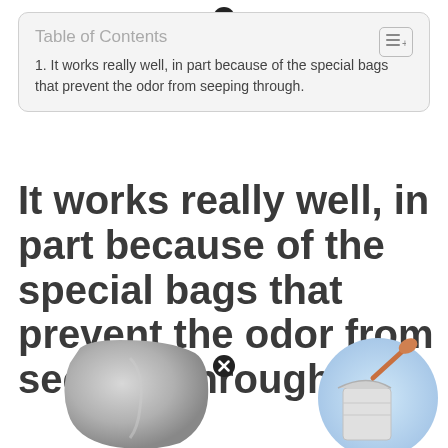Table of Contents
1. It works really well, in part because of the special bags that prevent the odor from seeping through.
It works really well, in part because of the special bags that prevent the odor from seeping through.
[Figure (photo): Two product photos: left shows a gray/silver trash bag or container viewed from front; right shows a small trash bin being used with a litter scoop, with blue circular background.]